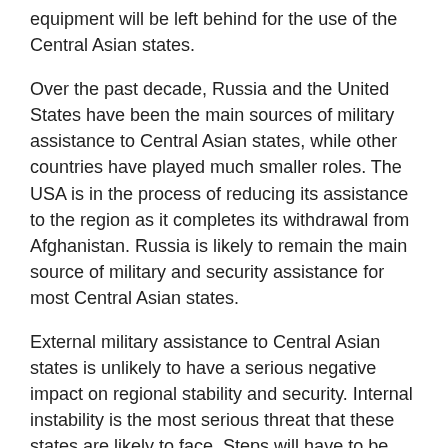equipment will be left behind for the use of the Central Asian states.
Over the past decade, Russia and the United States have been the main sources of military assistance to Central Asian states, while other countries have played much smaller roles. The USA is in the process of reducing its assistance to the region as it completes its withdrawal from Afghanistan. Russia is likely to remain the main source of military and security assistance for most Central Asian states.
External military assistance to Central Asian states is unlikely to have a serious negative impact on regional stability and security. Internal instability is the most serious threat that these states are likely to face. Steps will have to be taken to ensure that future assistance does not enhance the ability of internal security forces to harm civilians. This can be accomplished by focusing on training programmes over the provision of military equipment.